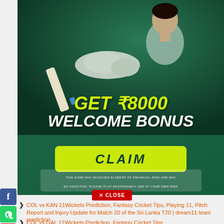[Figure (illustration): Cricket fantasy app advertisement banner on dark green background. A young male cricketer holding a cricket bat with batting gloves. Text reads 'GET ₹8000 WELCOME BONUS' in large yellow and white bold italic text. A yellow-green CLAIM button. Disclaimer text at bottom about financial risk.]
[Figure (illustration): Social media share buttons on the left: Facebook (blue), WhatsApp (green), Pinterest (red), Plus/Share (grey)]
✕ CLOSE
COL vs KAN 11Wickets Prediction, Fantasy Cricket Tips, Playing 11, Pitch Report and Injury Update for Match 20 of the Sri Lanka T20 | dream11 team prediction
COL vs GAL 11Wickets Prediction, Fantasy Cricket Tips,